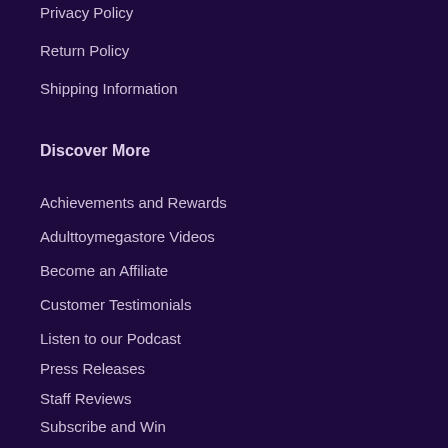Privacy Policy
Return Policy
Shipping Information
Discover More
Achievements and Rewards
Adulttoymegastore Videos
Become an Affiliate
Customer Testimonials
Listen to our Podcast
Press Releases
Staff Reviews
Subscribe and Win
The Heat Sex Articles
VIP Email Archive
Customer Service